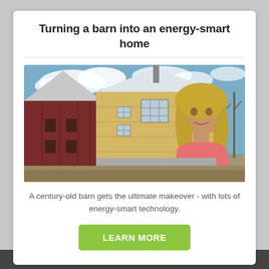Turning a barn into an energy-smart home
[Figure (photo): A woman with blonde hair stands in front of a barn being converted into a home. The barn has yellow/natural wood siding on the upper portion and dark red/maroon siding on the left. Blue sky with clouds visible. Construction scene.]
A century-old barn gets the ultimate makeover - with lots of energy-smart technology.
LEARN MORE